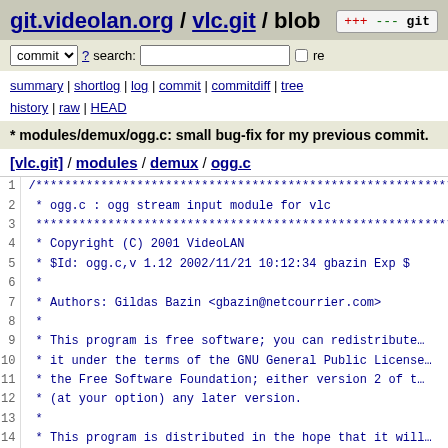git.videolan.org / vlc.git / blob
commit ? search: re
summary | shortlog | log | commit | commitdiff | tree history | raw | HEAD
* modules/demux/ogg.c: small bug-fix for my previous commit.
[vlc.git] / modules / demux / ogg.c
1  /***********************************************************...
2   * ogg.c : ogg stream input module for vlc
3   ***********************************************************...
4   * Copyright (C) 2001 VideoLAN
5   * $Id: ogg.c,v 1.12 2002/11/21 10:12:34 gbazin Exp $
6   *
7   * Authors: Gildas Bazin <gbazin@netcourrier.com>
8   *
9   * This program is free software; you can redistribute
10  * it under the terms of the GNU General Public License
11  * the Free Software Foundation; either version 2 of t
12  * (at your option) any later version.
13  *
14  * This program is distributed in the hope that it will
15  * but WITHOUT ANY WARRANTY; without even the implied w
16  * MERCHANTABILITY or FITNESS FOR A PARTICULAR PURPOSE.
17  * GNU General Public License for more details.
18  *
19  * You should have received a copy of the GNU General